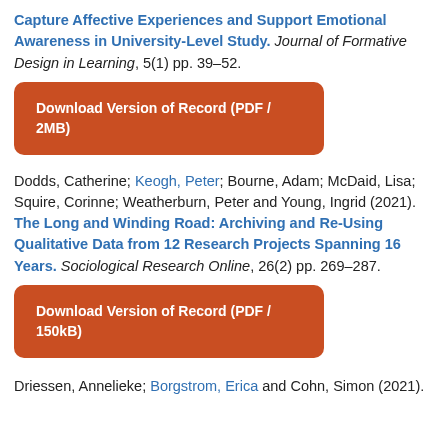Capture Affective Experiences and Support Emotional Awareness in University-Level Study. Journal of Formative Design in Learning, 5(1) pp. 39–52.
Download Version of Record (PDF / 2MB)
Dodds, Catherine; Keogh, Peter; Bourne, Adam; McDaid, Lisa; Squire, Corinne; Weatherburn, Peter and Young, Ingrid (2021). The Long and Winding Road: Archiving and Re-Using Qualitative Data from 12 Research Projects Spanning 16 Years. Sociological Research Online, 26(2) pp. 269–287.
Download Version of Record (PDF / 150kB)
Driessen, Annelieke; Borgstrom, Erica and Cohn, Simon (2021).